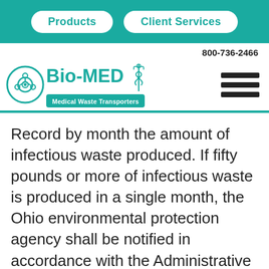Products | Client Services
800-736-2466
[Figure (logo): Bio-MED Medical Waste Transporters logo with biohazard symbol and caduceus]
Record by month the amount of infectious waste produced. If fifty pounds or more of infectious waste is produced in a single month, the Ohio environmental protection agency shall be notified in accordance with the Administrative Code. Generator certificates shall not include emergency